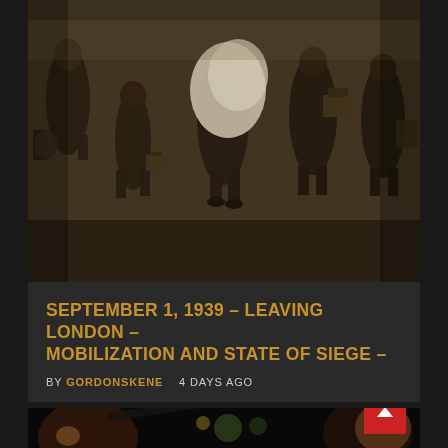[Figure (photo): Black and white sepia-toned historical photograph showing a group of people, including children, carrying bags and luggage, appearing to be evacuees leaving London in 1939.]
SEPTEMBER 1, 1939 – LEAVING LONDON – MOBILIZATION AND STATE OF SIEGE –
BY GORDONSKENE    4 DAYS AGO
[Figure (photo): Dark photograph showing faces of people, partially visible, with blurred bokeh lights in background, dark and dramatic atmosphere.]